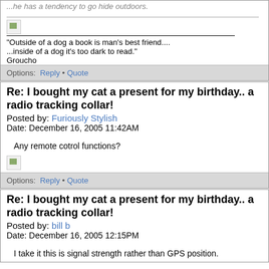...he has a tendency to go hide outdoors.
"Outside of a dog a book is man's best friend....
...inside of a dog it's too dark to read."
Groucho
Options: Reply • Quote
Re: I bought my cat a present for my birthday.. a radio tracking collar!
Posted by: Furiously Stylish
Date: December 16, 2005 11:42AM
Any remote cotrol functions?
Options: Reply • Quote
Re: I bought my cat a present for my birthday.. a radio tracking collar!
Posted by: bill b
Date: December 16, 2005 12:15PM
I take it this is signal strength rather than GPS position.